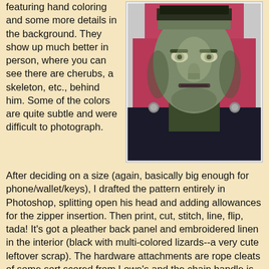featuring hand coloring and some more details in the background. They show up much better in person, where you can see there are cherubs, a skeleton, etc., behind him. Some of the colors are quite subtle and were difficult to photograph.
[Figure (photo): Photo of a Frankenstein's monster face/mask, showing a green-gray face with flat head and neck bolts, set against a red/pink background, displayed as a decorative item.]
After deciding on a size (again, basically big enough for phone/wallet/keys), I drafted the pattern entirely in Photoshop, splitting open his head and adding allowances for the zipper insertion. Then print, cut, stitch, line, flip, tada! It's got a pleather back panel and embroidered linen in the interior (black with multi-colored lizards--a very cute leftover scrap). The hardware attachments are rope cleats of some sort scored from Lowe's and the chain handle is scavenged!